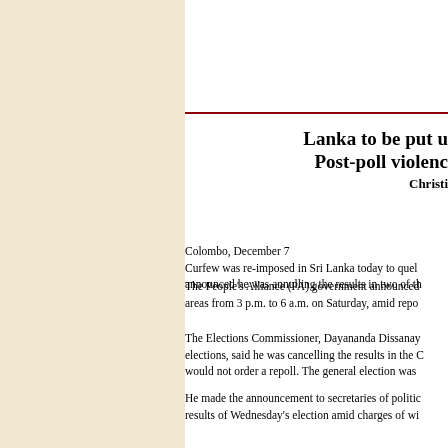Lanka to be put u... Post-poll violenc... Christi...
Colombo, December 7
Curfew was re-imposed in Sri Lanka today to quel... announced he was annulling the results in two of th...
The People's Alliance (PA) government announced... areas from 3 p.m. to 6 a.m. on Saturday, amid repo...
The Elections Commissioner, Dayananda Dissanay... elections, said he was cancelling the results in the C... would not order a repoll. The general election was...
He made the announcement to secretaries of politic... results of Wednesday's election amid charges of wi...